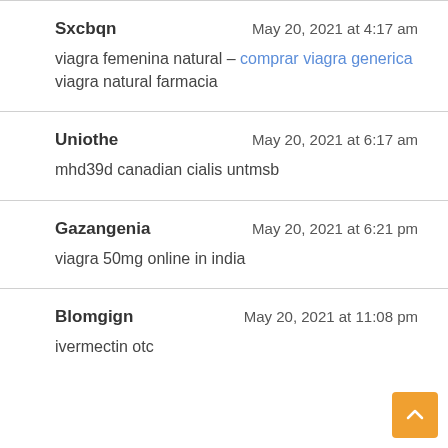Sxcbqn — May 20, 2021 at 4:17 am
viagra femenina natural – comprar viagra generica viagra natural farmacia
Uniothe — May 20, 2021 at 6:17 am
mhd39d canadian cialis untmsb
Gazangenia — May 20, 2021 at 6:21 pm
viagra 50mg online in india
Blomgign — May 20, 2021 at 11:08 pm
ivermectin otc